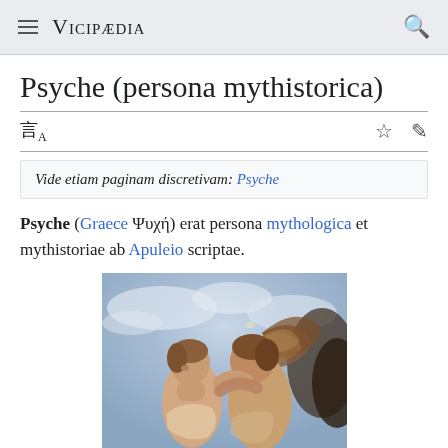Vicipaedia
Psyche (persona mythistorica)
Vide etiam paginam discretivam: Psyche
Psyche (Graece Ψυχή) erat persona mythologica et mythistoriae ab Apuleio scriptae.
[Figure (photo): Painting of Psyche and Cupid, a classic mythological scene showing two figures embracing, one with wings, against a sky background.]